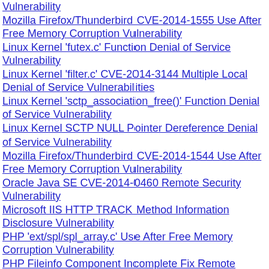Vulnerability
Mozilla Firefox/Thunderbird CVE-2014-1555 Use After Free Memory Corruption Vulnerability
Linux Kernel 'futex.c' Function Denial of Service Vulnerability
Linux Kernel 'filter.c' CVE-2014-3144 Multiple Local Denial of Service Vulnerabilities
Linux Kernel 'sctp_association_free()' Function Denial of Service Vulnerability
Linux Kernel SCTP NULL Pointer Dereference Denial of Service Vulnerability
Mozilla Firefox/Thunderbird CVE-2014-1544 Use After Free Memory Corruption Vulnerability
Oracle Java SE CVE-2014-0460 Remote Security Vulnerability
Microsoft IIS HTTP TRACK Method Information Disclosure Vulnerability
PHP 'ext/spl/spl_array.c' Use After Free Memory Corruption Vulnerability
PHP Fileinfo Component Incomplete Fix Remote Denial of Service Vulnerability
PHP Fileinfo Component 'cdf_check_stream_offset()' Function Remote Denial of Service Vulnerability
OpenSSL CVE-2014-3511 Man in the Middle Security Bypass Vulnerability
OpenSSL CVE-2014-3509 Remote Denial of Service Vulnerability
OpenSSL DTLS CVE-2014-3506 Remote Denial of Service Vulnerability